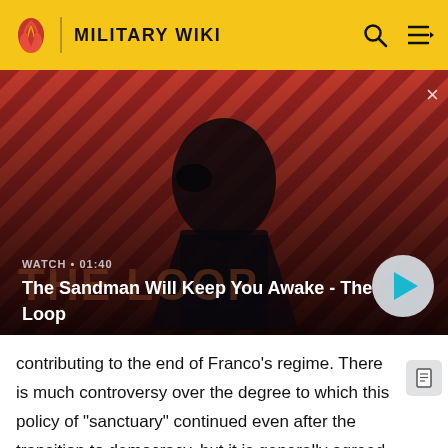MILITARY WIKI
[Figure (screenshot): Video thumbnail showing a dark-cloaked figure with a crow on shoulder against a red diagonal-striped background. Title overlay reads 'The Sandman Will Keep You Awake - The Loop'. Watch timer shows 01:40.]
contributing to the end of Franco's regime. There is much controversy over the degree to which this policy of "sanctuary" continued even after the transition to democracy, but it is generally agreed that currently the French authorities collaborated closely with the Spanish